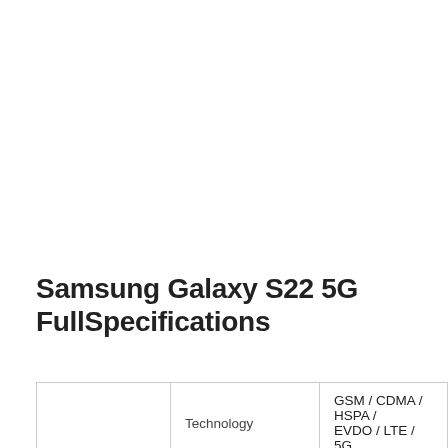Samsung Galaxy S22 5G FullSpecifications
|  | Technology | GSM / CDMA / HSPA / EVDO / LTE / 5G |
| --- | --- | --- |
|  | Technology | GSM / CDMA / HSPA / EVDO / LTE / 5G |